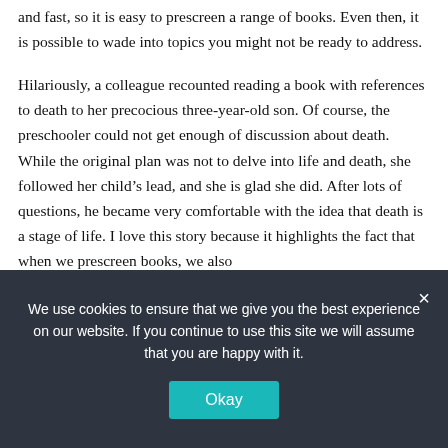and fast, so it is easy to prescreen a range of books. Even then, it is possible to wade into topics you might not be ready to address.
Hilariously, a colleague recounted reading a book with references to death to her precocious three-year-old son. Of course, the preschooler could not get enough of discussion about death. While the original plan was not to delve into life and death, she followed her child’s lead, and she is glad she did. After lots of questions, he became very comfortable with the idea that death is a stage of life. I love this story because it highlights the fact that when we prescreen books, we also
We use cookies to ensure that we give you the best experience on our website. If you continue to use this site we will assume that you are happy with it.